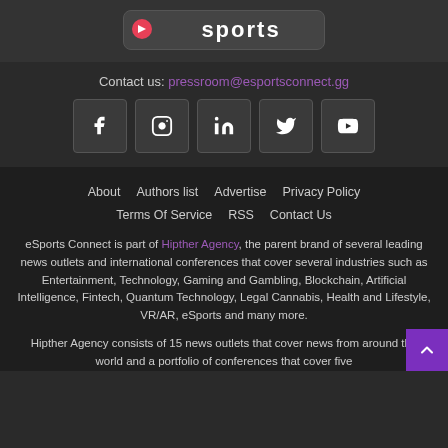[Figure (logo): eSports Connect logo with stylized icon]
Contact us: pressroom@esportsconnect.gg
[Figure (infographic): Social media icons: Facebook, Instagram, LinkedIn, Twitter, YouTube]
About   Authors list   Advertise   Privacy Policy   Terms Of Service   RSS   Contact Us
eSports Connect is part of Hipther Agency, the parent brand of several leading news outlets and international conferences that cover several industries such as Entertainment, Technology, Gaming and Gambling, Blockchain, Artificial Intelligence, Fintech, Quantum Technology, Legal Cannabis, Health and Lifestyle, VR/AR, eSports and many more.
Hipther Agency consists of 15 news outlets that cover news from around the world and a portfolio of conferences that cover five